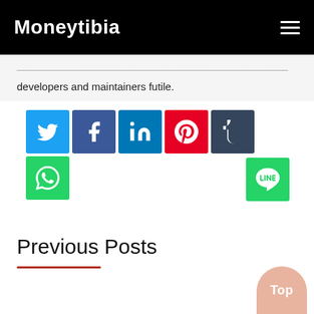Moneytibia
developers and maintainers futile.
[Figure (infographic): Social media share buttons: Twitter (blue bird), Facebook (blue f), LinkedIn (blue in), Pinterest (red P), Tumblr (dark blue t), WhatsApp (green phone), Line (green LINE logo)]
Previous Posts